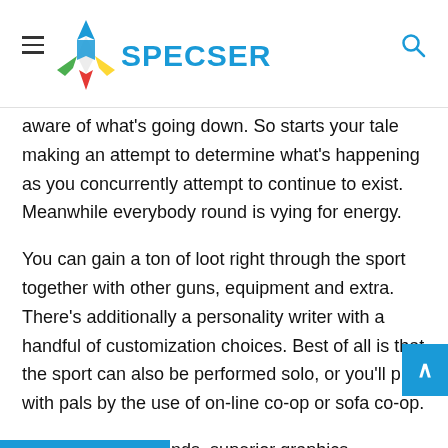SPECSER
aware of what's going down. So starts your tale making an attempt to determine what's happening as you concurrently attempt to continue to exist. Meanwhile everybody round is vying for energy.
You can gain a ton of loot right through the sport together with other guns, equipment and extra. There's additionally a personality writer with a handful of customization choices. Best of all is that the sport can also be performed solo, or you'll play with pals by the use of on-line co-op or sofa co-op.
Beautiful backgrounds, superior graphics, tremendous cool guns and struggle all wrapped up right into a cyberpunk theme. What's to not like?